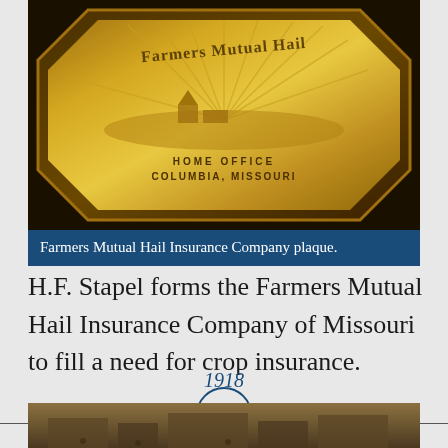[Figure (photo): Gold/bronze Farmers Mutual Hail Insurance Company plaque with octagonal frame, depicting a farm landscape with rays of sunlight, text HOME OFFICE COLUMBIA, MISSOURI]
Farmers Mutual Hail Insurance Company plaque.
H.F. Stapel forms the Farmers Mutual Hail Insurance Company of Missouri to fill a need for crop insurance.
[Figure (infographic): Timeline marker showing year 1918 in a circle on a horizontal line]
[Figure (photo): Sepia-toned historical photograph, partially visible at bottom of page, showing a building or street scene]